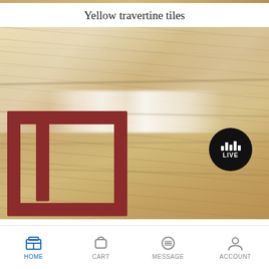Yellow travertine tiles
[Figure (photo): A large polished yellow travertine stone slab displayed in a warehouse or showroom. The stone has warm golden-beige tones with horizontal veining and a reflective surface showing light reflections. Brown/red metal display frames are visible in the lower left foreground. A circular black LIVE button with audio bars icon appears in the lower right of the photo.]
HOME  CART  MESSAGE  ACCOUNT